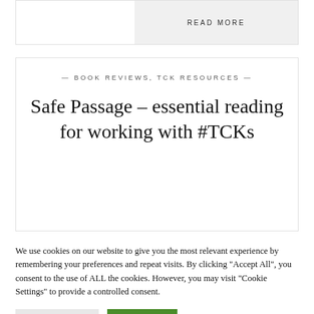READ MORE
— BOOK REVIEWS, TCK RESOURCES —
Safe Passage – essential reading for working with #TCKs
We use cookies on our website to give you the most relevant experience by remembering your preferences and repeat visits. By clicking "Accept All", you consent to the use of ALL the cookies. However, you may visit "Cookie Settings" to provide a controlled consent.
Cookie Settings
Accept All